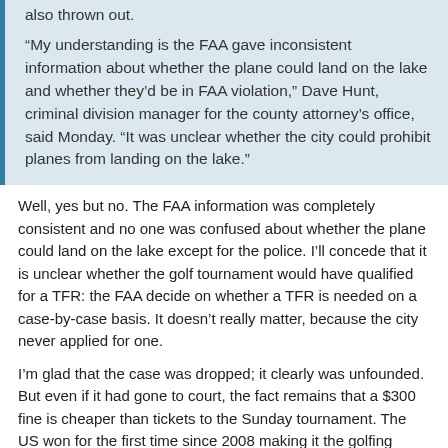also thrown out.
“My understanding is the FAA gave inconsistent information about whether the plane could land on the lake and whether they’d be in FAA violation,” Dave Hunt, criminal division manager for the county attorney’s office, said Monday. “It was unclear whether the city could prohibit planes from landing on the lake.”
Well, yes but no. The FAA information was completely consistent and no one was confused about whether the plane could land on the lake except for the police. I’ll concede that it is unclear whether the golf tournament would have qualified for a TFR: the FAA decide on whether a TFR is needed on a case-by-case basis. It doesn’t really matter, because the city never applied for one.
I’m glad that the case was dropped; it clearly was unfounded. But even if it had gone to court, the fact remains that a $300 fine is cheaper than tickets to the Sunday tournament. The US won for the first time since 2008 making it the golfing spectacle of the year. When the pilot saw there was no TFR, he must have decided, yep, it’ll be a hassle but it will totally be worth it.
I think I might have, too…